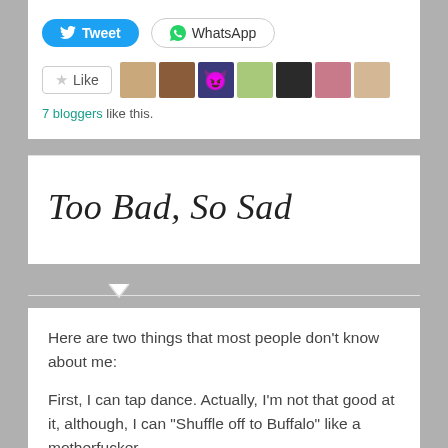[Figure (screenshot): Social share buttons: Tweet (Twitter blue pill button) and WhatsApp (outlined pill button)]
[Figure (screenshot): Like button with star icon, followed by a row of 7 blogger avatar thumbnail images]
7 bloggers like this.
Too Bad, So Sad
Here are two things that most people don't know about me:
First, I can tap dance. Actually, I'm not that good at it, although, I can "Shuffle off to Buffalo" like a motherfucker.
Second, I suffer from depression. I know, me and half